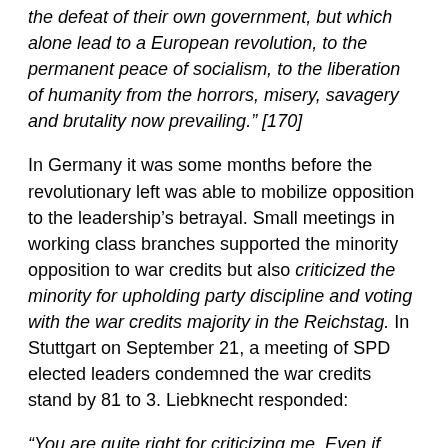the defeat of their own government, but which alone lead to a European revolution, to the permanent peace of socialism, to the liberation of humanity from the horrors, misery, savagery and brutality now prevailing." [170]
In Germany it was some months before the revolutionary left was able to mobilize opposition to the leadership's betrayal. Small meetings in working class branches supported the minority opposition to war credits but also criticized the minority for upholding party discipline and voting with the war credits majority in the Reichstag. In Stuttgart on September 21, a meeting of SPD elected leaders condemned the war credits stand by 81 to 3. Liebknecht responded:
“You are quite right for criticizing me. Even if alone, I should have called out my “No!” in the Reichstag and so informed the whole world that the talk of unanimity of the